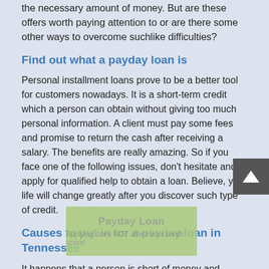the necessary amount of money. But are these offers worth paying attention to or are there some other ways to overcome suchlike difficulties?
Find out what a payday loan is
Personal installment loans prove to be a better tool for customers nowadays. It is a short-term credit which a person can obtain without giving too much personal information. A client must pay some fees and promise to return the cash after receiving a salary. The benefits are really amazing. So if you face one of the following issues, don't hesitate and apply for qualified help to obtain a loan. Believe, your life will change greatly after you discover such type of credit.
Causes to put in for a payday loan in Tennessee
It happens that a person is short of money and needs some cash to cover instant spendings. Payday loans online in Tennessee will help to handle this and even more cases.